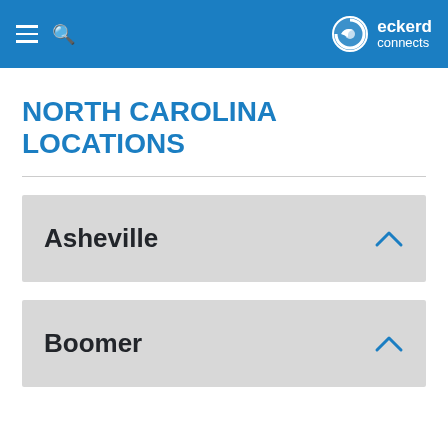Eckerd Connects
NORTH CAROLINA LOCATIONS
Asheville
Boomer